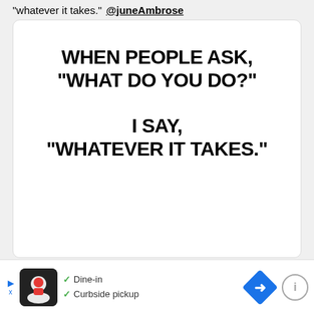"whatever it takes." @juneAmbrose
[Figure (illustration): White card with bold black uppercase text reading: WHEN PEOPLE ASK, "WHAT DO YOU DO?" / I SAY, "WHATEVER IT TAKES."]
✓ Dine-in ✓ Curbside pickup